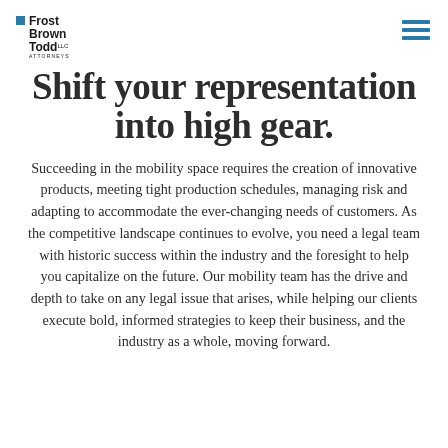Frost Brown Todd LLC Attorneys
Shift your representation into high gear.
Succeeding in the mobility space requires the creation of innovative products, meeting tight production schedules, managing risk and adapting to accommodate the ever-changing needs of customers. As the competitive landscape continues to evolve, you need a legal team with historic success within the industry and the foresight to help you capitalize on the future. Our mobility team has the drive and depth to take on any legal issue that arises, while helping our clients execute bold, informed strategies to keep their business, and the industry as a whole, moving forward.